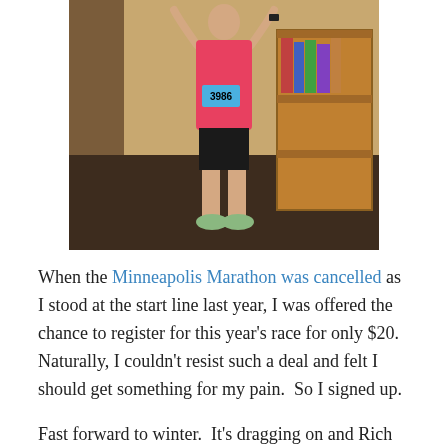[Figure (photo): A person wearing a pink top, black shorts, and running shoes with a race bib numbered 3986, standing indoors with arms raised, in front of a bookshelf.]
When the Minneapolis Marathon was cancelled as I stood at the start line last year, I was offered the chance to register for this year's race for only $20.  Naturally, I couldn't resist such a deal and felt I should get something for my pain.  So I signed up.
Fast forward to winter.  It's dragging on and Rich and I are eager for spring.  The opportunity to do a spring cycling